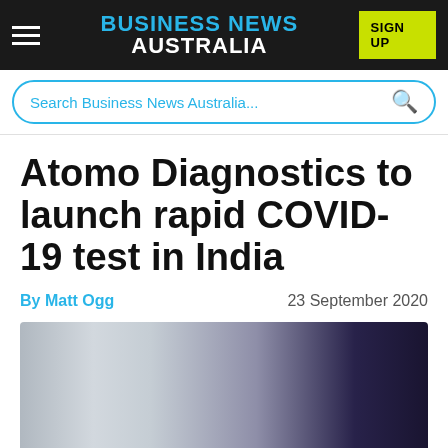BUSINESS NEWS AUSTRALIA
Search Business News Australia...
Atomo Diagnostics to launch rapid COVID-19 test in India
By Matt Ogg   23 September 2020
[Figure (photo): Blurred photo with grey to dark purple gradient, likely product or background image for article]